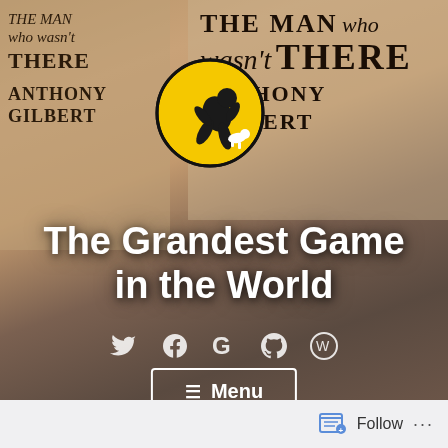[Figure (photo): Website header/banner for 'The Grandest Game in the World' blog. Background shows a photo of book spines for 'The Man Who Wasn't There' by Anthony Gilbert, with a person's feet visible. A circular Tintin logo appears in the center top area. Large white bold text reads 'The Grandest Game in the World'. Social media icons (Twitter, Facebook, Google, GitHub, WordPress) are shown. A 'Menu' button with hamburger icon is at the bottom of the image area. A white footer bar with 'Follow' button and ellipsis menu appears at the very bottom.]
The Grandest Game in the World
Follow ...